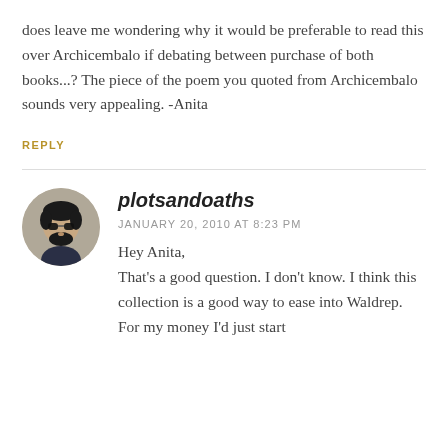does leave me wondering why it would be preferable to read this over Archicembalo if debating between purchase of both books...? The piece of the poem you quoted from Archicembalo sounds very appealing. -Anita
REPLY
plotsandoaths
JANUARY 20, 2010 AT 8:23 PM
Hey Anita,
That's a good question. I don't know. I think this collection is a good way to ease into Waldrep. For my money I'd just start